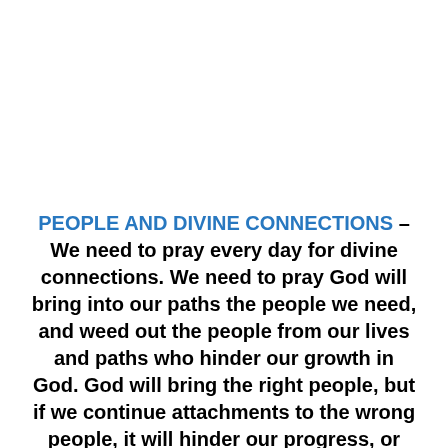PEOPLE AND DIVINE CONNECTIONS – We need to pray every day for divine connections. We need to pray God will bring into our paths the people we need, and weed out the people from our lives and paths who hinder our growth in God. God will bring the right people, but if we continue attachments to the wrong people, it will hinder our progress, or detour us from receiving divine connections.